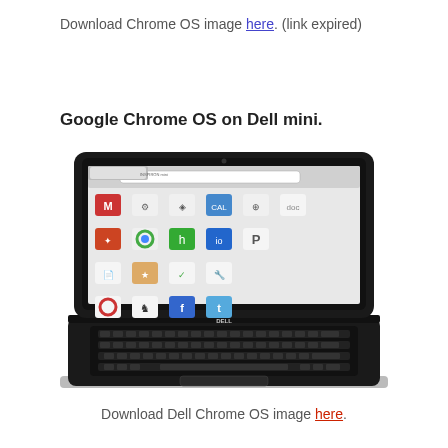Download Chrome OS image here. (link expired)
Google Chrome OS on Dell mini.
[Figure (photo): A Dell Inspiron Mini netbook laptop open and displaying the Google Chrome OS interface with app icons on a white desktop background, including Gmail, Calendar, Facebook, Twitter, and other web apps. The laptop is shown in a front-facing perspective with its keyboard visible. The DELL logo is visible on the hinge.]
Download Dell Chrome OS image here.